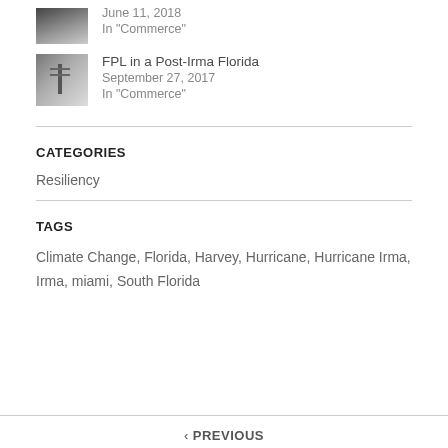[Figure (photo): Thumbnail image for related post, partially visible at top of page]
June 11, 2018
In "Commerce"
[Figure (photo): Thumbnail image of power lines or utility poles after a hurricane]
FPL in a Post-Irma Florida
September 27, 2017
In "Commerce"
CATEGORIES
Resiliency
TAGS
Climate Change, Florida, Harvey, Hurricane, Hurricane Irma, Irma, miami, South Florida
< PREVIOUS